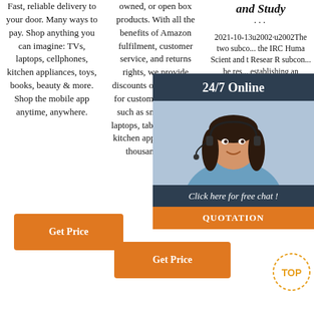Fast, reliable delivery to your door. Many ways to pay. Shop anything you can imagine: TVs, laptops, cellphones, kitchen appliances, toys, books, beauty & more. Shop the mobile app anytime, anywhere.
owned, or open box products. With all the benefits of Amazon fulfilment, customer service, and returns rights, we provide discounts on used items for customer favorites: such as smartphones, laptops, tablets, home & kitchen appliances, and thousands more.
and Study
...
2021-10-13u2002·u2002The two subco... the IRC Huma Scient and t Resear R subcon... be res... establishing an explicit and formal scientific review process that evaluates the scientific merit and